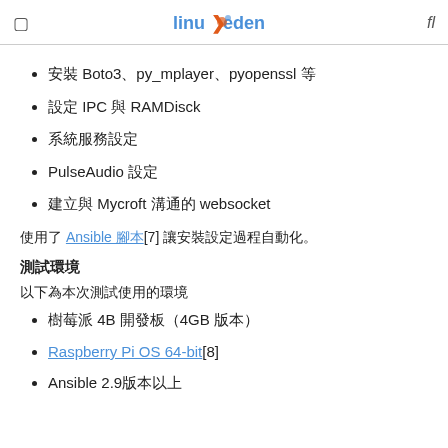☰  LinuxEden  fl
安裝 Boto3、py_mplayer、pyopenssl 等
設定 IPC 與 RAMDisck
系統服務設定
PulseAudio 設定
建立與 Mycroft 溝通的 websocket
使用了 Ansible 腳本[7] 讓安裝設定過程自動化。
測試環境
以下為本次測試使用的環境
樹莓派 4B 開發板（4GB 版本）
Raspberry Pi OS 64-bit[8]
Ansible 2.9版本以上